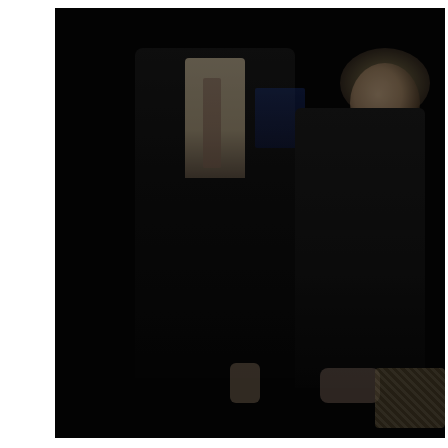[Figure (photo): A dark theatrical photograph showing two figures against a nearly black background. On the left, a heavyset man in a dark suit with a light shirt and striped tie stands facing slightly forward, his face and upper body partially visible. On the right, a slender woman in a black lace dress looks upward with an expressive, emotional expression, her blonde hair pulled back. She appears to be clasping her hands in front of her. A woven basket is partially visible at the lower right edge. A blue element is visible in the background center. The overall image is very dark and dramatically lit.]